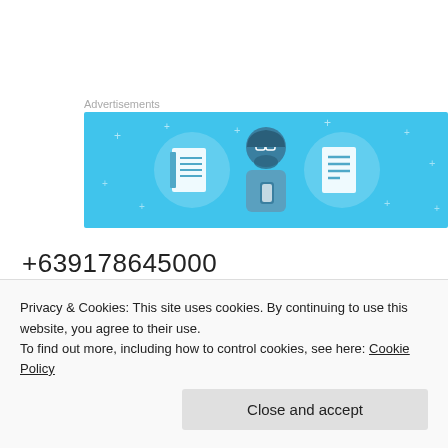Advertisements
[Figure (illustration): Blue banner advertisement illustration showing a person holding a phone, flanked by two circular icons with notebook and list/document graphics]
+639178645000
(02) 9570029
Privacy & Cookies: This site uses cookies. By continuing to use this website, you agree to their use.
To find out more, including how to control cookies, see here: Cookie Policy
Close and accept